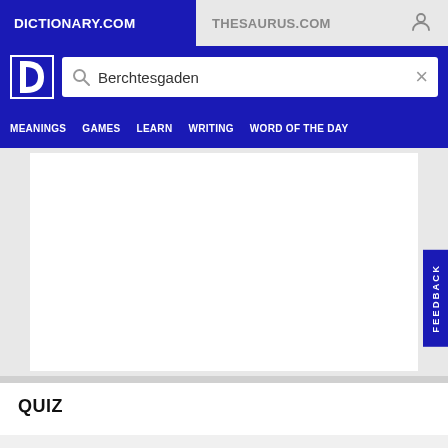DICTIONARY.COM
THESAURUS.COM
Berchtesgaden
MEANINGS  GAMES  LEARN  WRITING  WORD OF THE DAY
[Figure (screenshot): White advertisement area, blank content box]
QUIZ